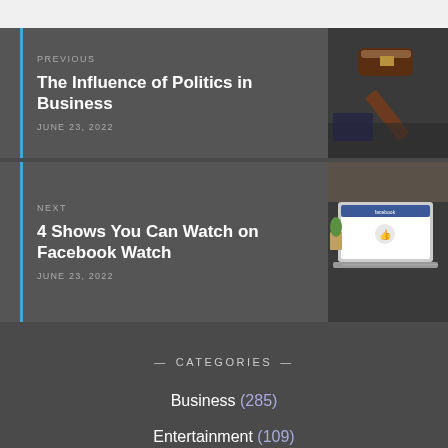[Figure (screenshot): Top white bar area]
PREVIOUS
The Influence of Politics in Business
JUNE 23, 2022
[Figure (photo): A judge's gavel on a dark surface]
NEXT
4 Shows You Can Watch on Facebook Watch
JUNE 23, 2022
[Figure (photo): A laptop showing Facebook with a like button graphic, a potted plant beside it]
— CATEGORIES —
Business (285)
Entertainment (109)